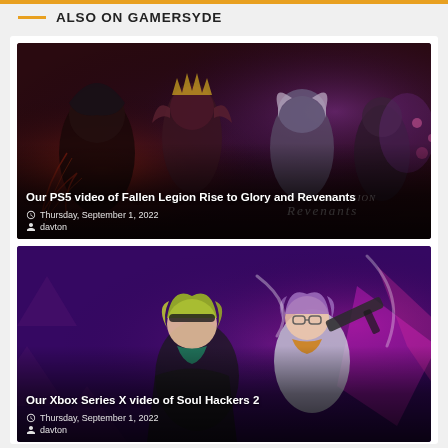ALSO ON GAMERSYDE
[Figure (photo): Anime artwork for Fallen Legion Rise to Glory and Revenants game, showing anime characters on a dark red/purple background with Fallen Legion Revenants logo]
Our PS5 video of Fallen Legion Rise to Glory and Revenants
Thursday, September 1, 2022
davton
[Figure (photo): Anime artwork for Soul Hackers 2 game, showing two anime girl characters on a purple background with geometric diamond shapes]
Our Xbox Series X video of Soul Hackers 2
Thursday, September 1, 2022
davton